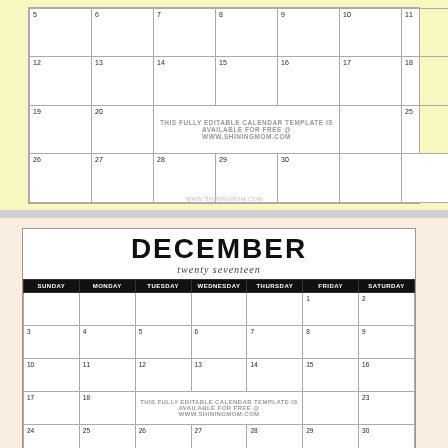[Figure (other): Top partial calendar page with yellow background showing weeks with dates 5-11, 12-18, 19-25, 26-30 and a watermark text in the middle row]
[Figure (other): Bottom December 2017 calendar page with peach/cream background, large DECEMBER heading, 'twenty seventeen' subtitle, and calendar grid with days 1-30]